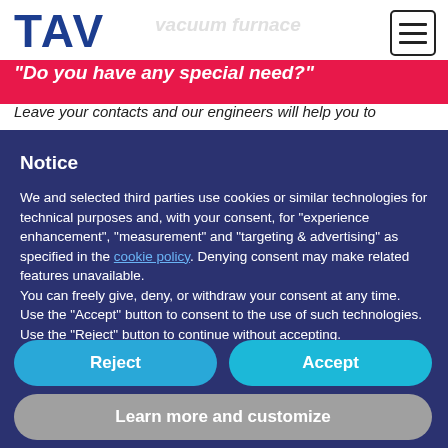[Figure (logo): TAV vacuum furnaces logo in dark blue bold text]
Do you have any special need?
Leave your contacts and our engineers will help you to
Notice
We and selected third parties use cookies or similar technologies for technical purposes and, with your consent, for “experience enhancement”, “measurement” and “targeting & advertising” as specified in the cookie policy. Denying consent may make related features unavailable.
You can freely give, deny, or withdraw your consent at any time. Use the “Accept” button to consent to the use of such technologies. Use the “Reject” button to continue without accepting.
Reject
Accept
Learn more and customize